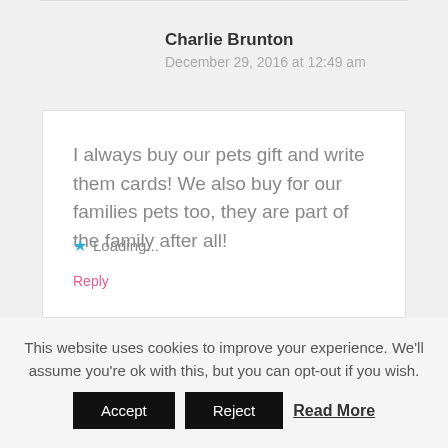Charlie Brunton
December 29, 2016 at 12:49 am
I always buy our pets gift and write them cards! We also buy for our families pets too, they are part of the family after all!
★ Loading...
Reply
This website uses cookies to improve your experience. We'll assume you're ok with this, but you can opt-out if you wish.
Accept  Reject  Read More